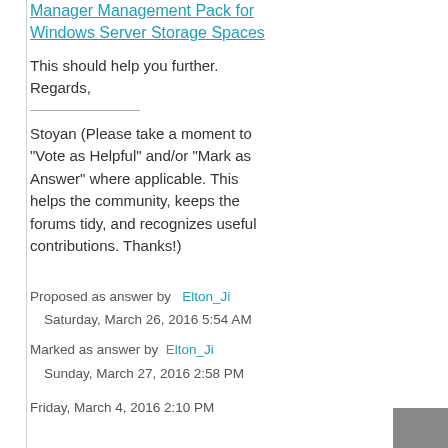Manager Management Pack for Windows Server Storage Spaces
This should help you further.
Regards,
Stoyan (Please take a moment to "Vote as Helpful" and/or "Mark as Answer" where applicable. This helps the community, keeps the forums tidy, and recognizes useful contributions. Thanks!)
Proposed as answer by  Elton_Ji
  Saturday, March 26, 2016 5:54 AM
Marked as answer by  Elton_Ji
  Sunday, March 27, 2016 2:58 PM
Friday, March 4, 2016 2:10 PM